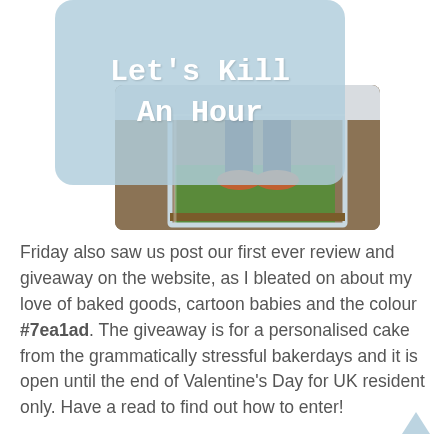Let's Kill An Hour
[Figure (photo): Photo of a person's feet/legs standing near a glass terrarium or tank on the floor, with carpet and grass visible inside the tank.]
Friday also saw us post our first ever review and giveaway on the website, as I bleated on about my love of baked goods, cartoon babies and the colour #7ea1ad. The giveaway is for a personalised cake from the grammatically stressful bakerdays and it is open until the end of Valentine's Day for UK resident only. Have a read to find out how to enter!